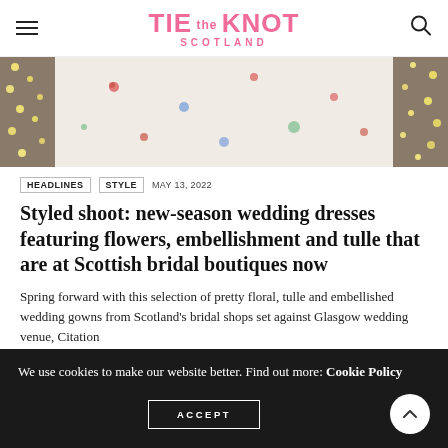TIE the KNOT SCOTLAND
[Figure (photo): Wedding dress with floral pattern shown from waist down, with fairy lights backdrop]
HEADLINES  STYLE  MAY 13, 2022
Styled shoot: new-season wedding dresses featuring flowers, embellishment and tulle that are at Scottish bridal boutiques now
Spring forward with this selection of pretty floral, tulle and embellished wedding gowns from Scotland's bridal shops set against Glasgow wedding venue, Citation
We use cookies to make our website better. Find out more: Cookie Policy